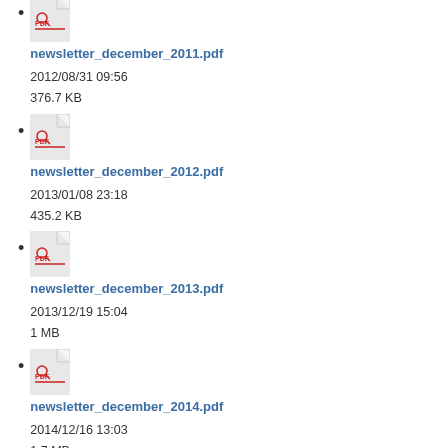newsletter_december_2011.pdf
2012/08/31 09:56
376.7 KB
newsletter_december_2012.pdf
2013/01/08 23:18
435.2 KB
newsletter_december_2013.pdf
2013/12/19 15:04
1 MB
newsletter_december_2014.pdf
2014/12/16 13:03
1.7 MB